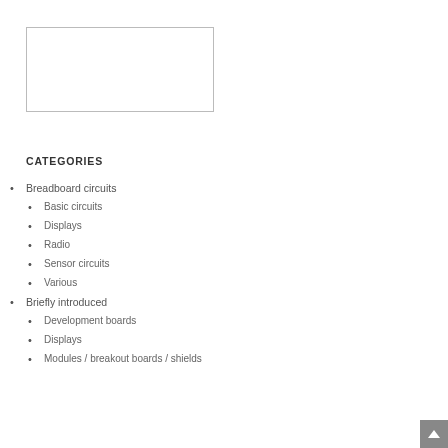[Figure (other): Empty rectangular placeholder box with thin border]
CATEGORIES
Breadboard circuits
Basic circuits
Displays
Radio
Sensor circuits
Various
Briefly introduced
Development boards
Displays
Modules / breakout boards / shields